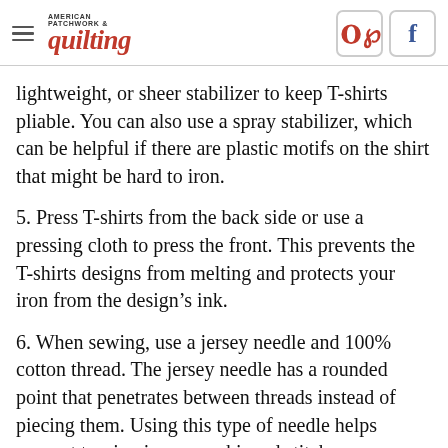AMERICAN PATCHWORK & quilting
lightweight, or sheer stabilizer to keep T-shirts pliable. You can also use a spray stabilizer, which can be helpful if there are plastic motifs on the shirt that might be hard to iron.
5. Press T-shirts from the back side or use a pressing cloth to press the front. This prevents the T-shirts designs from melting and protects your iron from the design’s ink.
6. When sewing, use a jersey needle and 100% cotton thread. The jersey needle has a rounded point that penetrates between threads instead of piecing them. Using this type of needle helps prevent tension issues or skipped stitches.